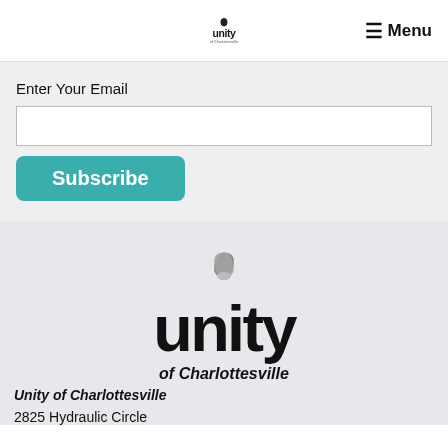unity of Charlottesville | Menu
Enter Your Email
[Figure (screenshot): White email input field]
Subscribe
[Figure (logo): Unity of Charlottesville logo: flower/leaf icon above large bold 'unity' wordmark, with 'of Charlottesville' subtitle]
Unity of Charlottesville
2825 Hydraulic Circle